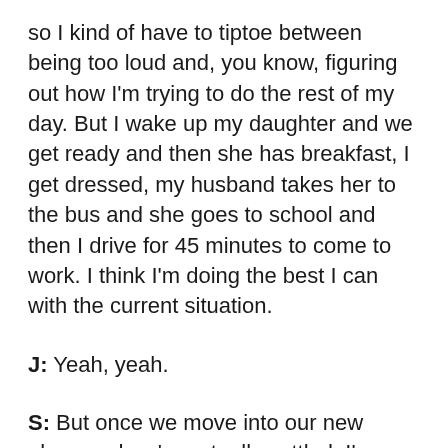so I kind of have to tiptoe between being too loud and, you know, figuring out how I'm trying to do the rest of my day. But I wake up my daughter and we get ready and then she has breakfast, I get dressed, my husband takes her to the bus and she goes to school and then I drive for 45 minutes to come to work. I think I'm doing the best I can with the current situation.
J: Yeah, yeah.
S: But once we move into our new place and we're actually settled, I'm going to have to have sort of a different morning